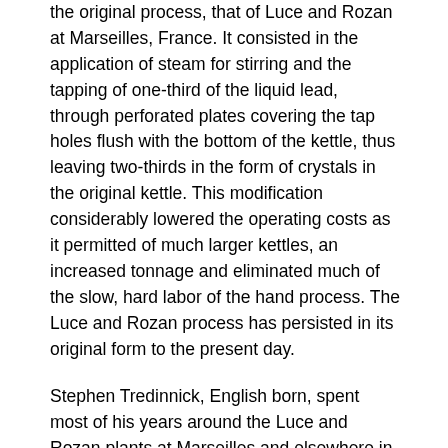the original process, that of Luce and Rozan at Marseilles, France. It consisted in the application of steam for stirring and the tapping of one-third of the liquid lead, through perforated plates covering the tap holes flush with the bottom of the kettle, thus leaving two-thirds in the form of crystals in the original kettle. This modification considerably lowered the operating costs as it permitted of much larger kettles, an increased tonnage and eliminated much of the slow, hard labor of the hand process. The Luce and Rozan process has persisted in its original form to the present day.
Stephen Tredinnick, English born, spent most of his years around the Luce and Rozan plants at Marseilles and elsewhere in Europe, coming later to Eureka, Nev., in 1878, to operate the Luce and Rozan plant at that point.
Mr. Tredinnick was a competent Luce and